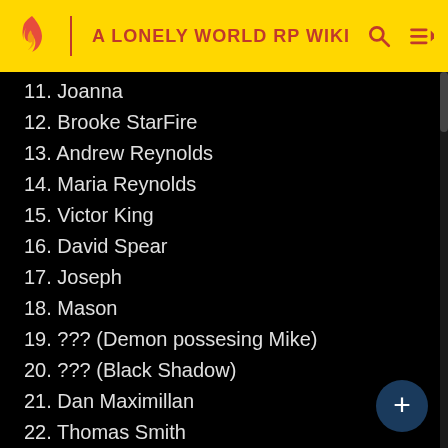A LONELY WORLD RP WIKI
11. Joanna
12. Brooke StarFire
13. Andrew Reynolds
14. Maria Reynolds
15. Victor King
16. David Spear
17. Joseph
18. Mason
19. ??? (Demon possesing Mike)
20. ??? (Black Shadow)
21. Dan Maximillan
22. Thomas Smith
23. Rick ???
24. Luis Smith
25. Xira
26. Mark(alias)